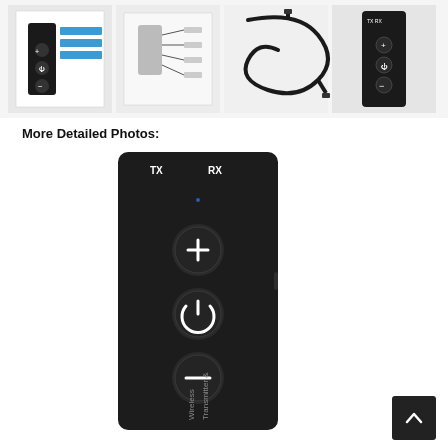[Figure (photo): Four product photos in a row showing a Wireless Transmitter & Receiver device: packaging box, instruction manual/diagram, cables, and the black device itself]
More Detailed Photos:
[Figure (photo): Close-up front view of a black wireless Bluetooth transmitter and receiver device showing TX and RX labels at top, a small LED dot, and three circular buttons (plus, power, minus) with 'Wireless Transmitter &' text visible at bottom]